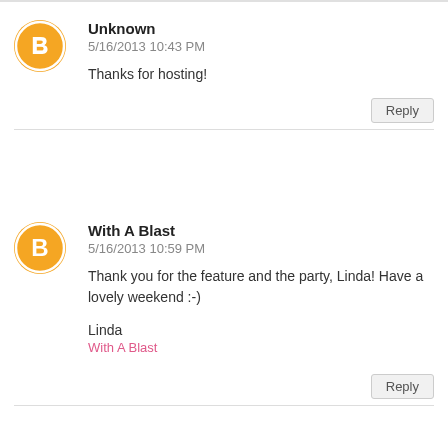Unknown
5/16/2013 10:43 PM
Thanks for hosting!
Reply
With A Blast
5/16/2013 10:59 PM
Thank you for the feature and the party, Linda! Have a lovely weekend :-)
Linda
With A Blast
Reply